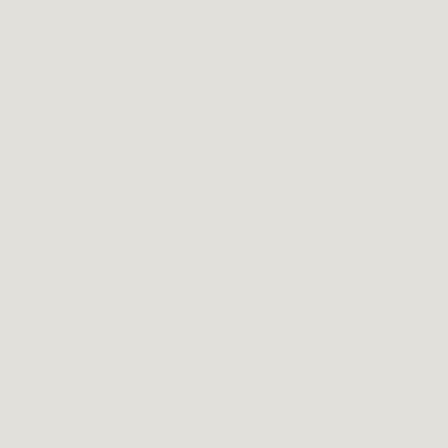van Duijn J. 1983. The Long W...
Ertl Th., Komlosy A., and Puh... Modell oder Provinz? Wien: New...
Fischer K., Hauck G., ... Entwicklungsforschung. Wiesba...
Fischer K., Reiner Ch., and Co... Arbeitsteilung und ungleiche En...
Frank A. G. 1998. Re-Orient. Angeles – London: University of...
Frank A. G. 2015. ReOrienting... Asian age / Ed. by R. A. Denema...
Freeman Ch. 2001. As Time... Information Revolution. Oxford U...
Gereffi G., and Korzeniewic... Capitalism. New York: Praeger.
Gerschenkron A. 1966. Ec... Cambridge, MA: Belknap Press.
Gerschenkron A. 1977. An Ec... History. Princeton, NJ.
Goldstone J. A. 2009. Why Ec... 1850. New York.